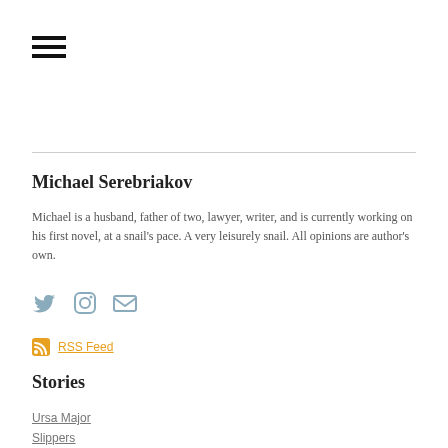[Figure (other): Hamburger menu icon (three horizontal lines)]
Michael Serebriakov
Michael is a husband, father of two, lawyer, writer, and is currently working on his first novel, at a snail's pace. A very leisurely snail. All opinions are author's own.
[Figure (other): Social media icons: Twitter bird, Instagram camera, email envelope]
RSS Feed
Stories
Ursa Major
Slippers